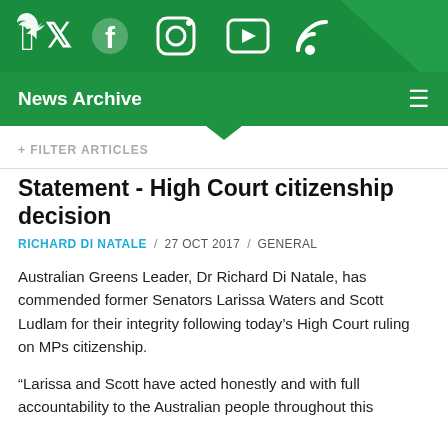[Figure (other): Social media icons bar (Twitter, Facebook, Instagram, YouTube, RSS) on green background with diagonal highlight]
News Archive
+ FILTER ARTICLES
Statement - High Court citizenship decision
RICHARD DI NATALE / 27 OCT 2017 / GENERAL
Australian Greens Leader, Dr Richard Di Natale, has commended former Senators Larissa Waters and Scott Ludlam for their integrity following today's High Court ruling on MPs citizenship.
“Larissa and Scott have acted honestly and with full accountability to the Australian people throughout this